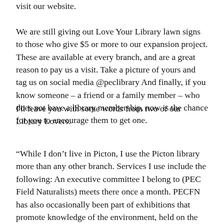visit our website. We are still giving out Love Your Library lawn signs to those who give $5 or more to our expansion project. These are available at every branch, and are a great reason to pay us a visit. Take a picture of yours and tag us on social media @peclibrary And finally, if you know someone – a friend or a family member – who does not have a library membership, now is the chance for you to encourage them to get one.
I'll leave you with some words from two of our Library Lovers.
“While I don’t live in Picton, I use the Picton library more than any other branch. Services I use include the following: An executive committee I belong to (PEC Field Naturalists) meets there once a month. PECFN has also occasionally been part of exhibitions that promote knowledge of the environment, held on the lower floor. We have members who live all over the County, and Picton is the most central place for us to